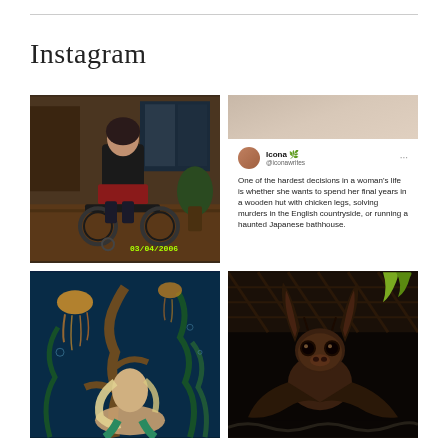Instagram
[Figure (photo): Person in wheelchair in a home interior setting, dated 03/04/2006 in yellow timestamp]
[Figure (screenshot): Screenshot of tweet by Icona (@iconawrites): 'One of the hardest decisions in a woman's life is whether she wants to spend her final years in a wooden hut with chicken legs, solving murders in the English countryside, or running a haunted Japanese bathhouse.']
[Figure (photo): Fantasy underwater scene with mermaid figure surrounded by jellyfish and sea plants]
[Figure (photo): Close-up photograph of a bat with large ears looking at camera]